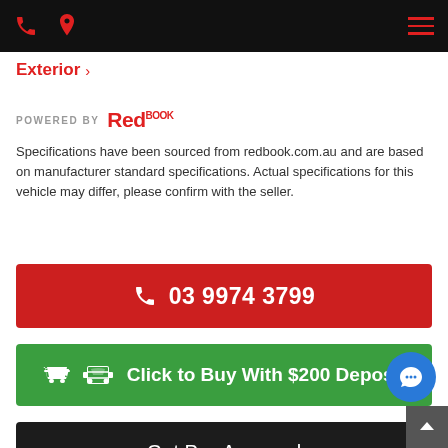Navigation bar with phone, location, and menu icons
Exterior
[Figure (logo): POWERED BY Redbook logo]
Specifications have been sourced from redbook.com.au and are based on manufacturer standard specifications. Actual specifications for this vehicle may differ, please confirm with the seller.
03 9974 3799 (phone button)
Click to Buy With $200 Deposit (green button)
Get Pre-Approval (black button)